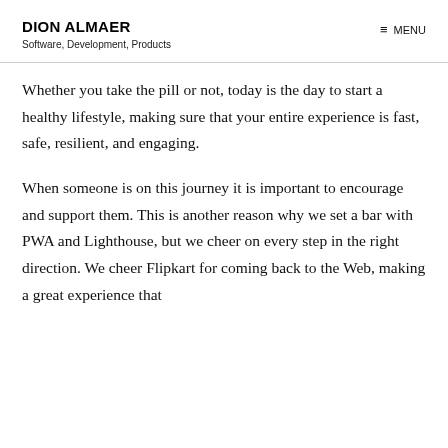DION ALMAER
Software, Development, Products
Whether you take the pill or not, today is the day to start a healthy lifestyle, making sure that your entire experience is fast, safe, resilient, and engaging.
When someone is on this journey it is important to encourage and support them. This is another reason why we set a bar with PWA and Lighthouse, but we cheer on every step in the right direction. We cheer Flipkart for coming back to the Web, making a great experience that